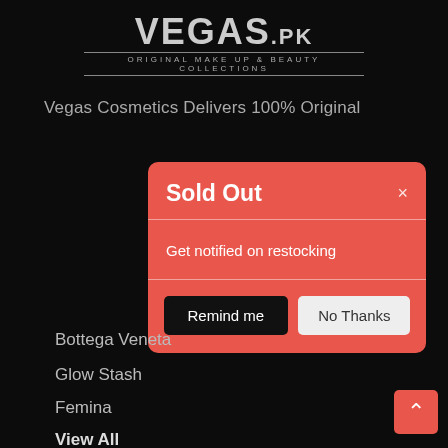[Figure (screenshot): Vegas.pk cosmetics website screenshot showing a 'Sold Out' modal dialog over a dark background with product images. The modal has a red/coral background with 'Sold Out' title, 'Get notified on restocking' message, and two buttons: 'Remind me' (black) and 'No Thanks' (light). Below shows brand names: Bottega Veneta, Glow Stash, Femina, View All.]
VEGAS.PK
Vegas Cosmetics Delivers 100% Original
Sold Out
Get notified on restocking
Bottega Veneta
Glow Stash
Femina
View All